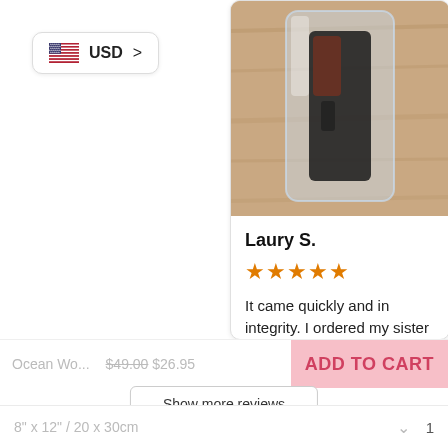USD >
[Figure (photo): Product photo showing an item in plastic packaging on a wooden surface]
Laury S.
★★★★★ (5-star rating)
It came quickly and in integrity. I ordered my sister as a gift, she really liked it.
Ocean Wo...   $49.00 $26.95
ADD TO CART
Show more reviews
8" x 12" / 20 x 30cm